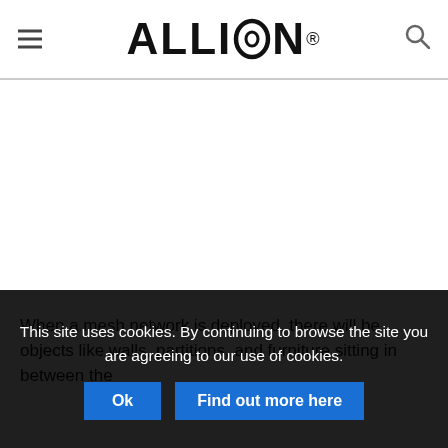ALLION®
[Figure (other): Large white/blank content area — article image not loaded or empty space]
When a mesh network is deployed, there will be objects like walls, partitions, and furniture sitting in between the
This site uses cookies. By continuing to browse the site you are agreeing to our use of cookies. Ok Find out more here